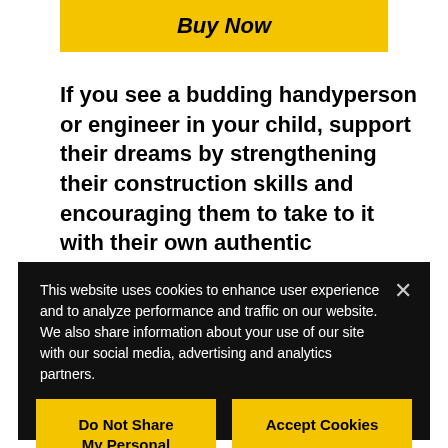Buy Now
If you see a budding handyperson or engineer in your child, support their dreams by strengthening their construction skills and encouraging them to take to it with their own authentic Construction Toy Tool Set from a long-trusted brand of high-quality power tools for kids— STANLEY Jr. As well-built and sturdy as Mom or Dad's own tools, these
This website uses cookies to enhance user experience and to analyze performance and traffic on our website. We also share information about your use of our site with our social media, advertising and analytics partners.
Do Not Share My Personal Information
Accept Cookies